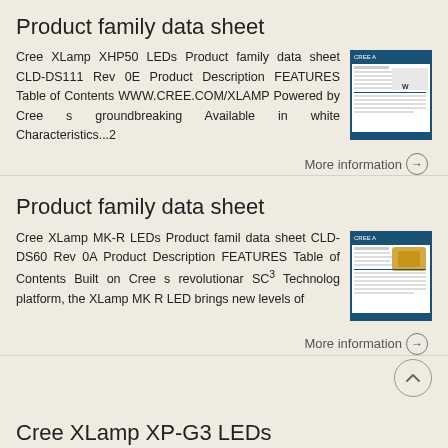Product family data sheet
Cree XLamp XHP50 LEDs Product family data sheet CLD-DS111 Rev 0E Product Description FEATURES Table of Contents WWW.CREE.COM/XLAMP Powered by Cree s groundbreaking Available in white Characteristics...2
More information →
Product family data sheet
Cree XLamp MK-R LEDs Product famil data sheet CLD-DS60 Rev 0A Product Description FEATURES Table of Contents Built on Cree s revolutionar SC³ Technolog platform, the XLamp MK R LED brings new levels of
More information →
Cree XLamp XP-G3 LEDs